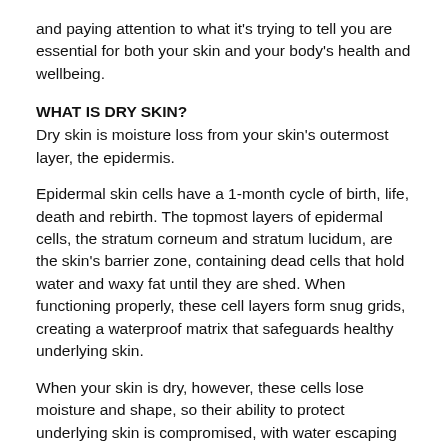and paying attention to what it's trying to tell you are essential for both your skin and your body's health and wellbeing.
WHAT IS DRY SKIN?
Dry skin is moisture loss from your skin's outermost layer, the epidermis.
Epidermal skin cells have a 1-month cycle of birth, life, death and rebirth. The topmost layers of epidermal cells, the stratum corneum and stratum lucidum, are the skin's barrier zone, containing dead cells that hold water and waxy fat until they are shed. When functioning properly, these cell layers form snug grids, creating a waterproof matrix that safeguards healthy underlying skin.
When your skin is dry, however, these cells lose moisture and shape, so their ability to protect underlying skin is compromised, with water escaping through the surface. The result? Visibly dry, scaly or flaking skin that feels rough to the touch. On the face, this is most common along its periphery, like your cheeks, jawline and chin (the "U zone").